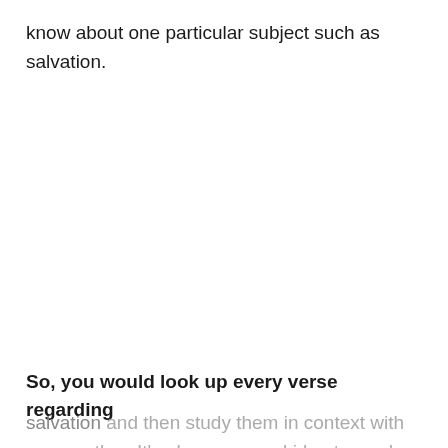know about one particular subject such as salvation.
So, you would look up every verse regarding salvation and then study them in context with one another. It's always a good idea to read the